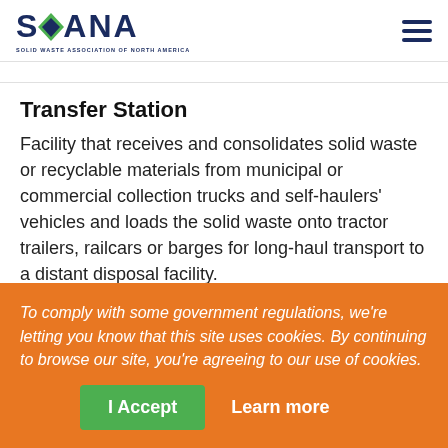[Figure (logo): SWANA - Solid Waste Association of North America logo with green leaf design in the S]
Transfer Station
Facility that receives and consolidates solid waste or recyclable materials from municipal or commercial collection trucks and self-haulers' vehicles and loads the solid waste onto tractor trailers, railcars or barges for long-haul transport to a distant disposal facility.
To comply with some government regulations, we're letting you know that this site uses cookies. By continuing to browse our site, you're agreeing to our use of cookies.